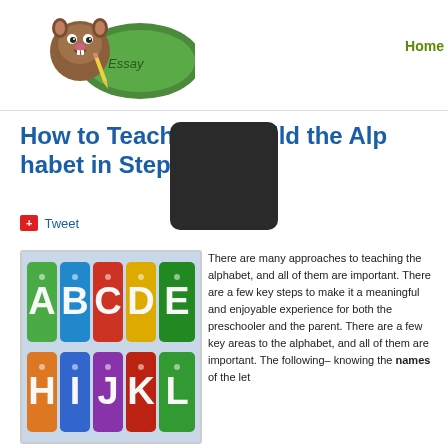[Figure (logo): Cartoon beaver holding a pencil next to a green chalkboard, site logo for an educational website]
Home
How to Teach Your Child the Alphabet in Steps
Tweet
[Figure (photo): Colorful alphabet puzzle tiles showing letters A B C D E H I J K L in bright colors]
There are many approaches to teaching the alphabet, and all of them are important. There are a few key steps to make it a meaningful and enjoyable experience for both the preschooler and the parent. There are a few key areas to teaching the alphabet, and all of them are important. The following– knowing the names of the let